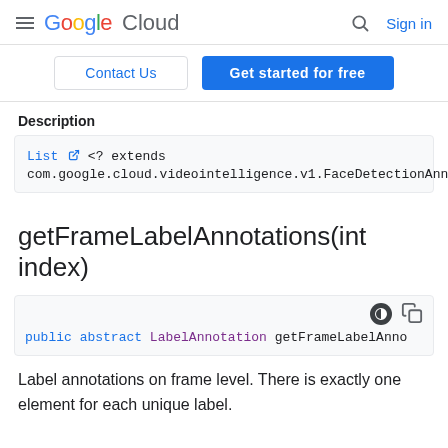Google Cloud — Sign in
Contact Us | Get started for free
Description
List <? extends com.google.cloud.videointelligence.v1.FaceDetectionAnnotationO
getFrameLabelAnnotations(int index)
public abstract LabelAnnotation getFrameLabelAnno
Label annotations on frame level. There is exactly one element for each unique label.